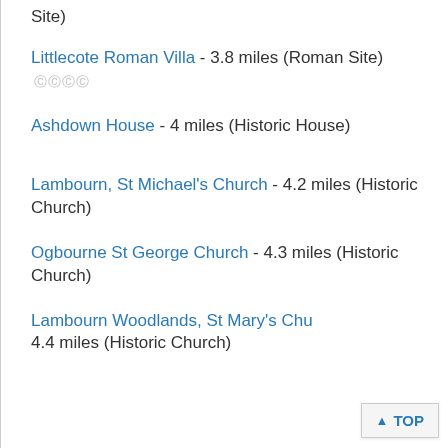Site)
Littlecote Roman Villa - 3.8 miles (Roman Site) [rating icons]
Ashdown House - 4 miles (Historic House)
Lambourn, St Michael's Church - 4.2 miles (Historic Church)
Ogbourne St George Church - 4.3 miles (Historic Church)
Lambourn Woodlands, St Mary's Church - 4.4 miles (Historic Church)